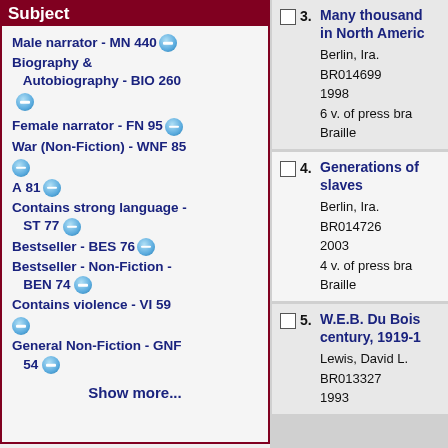Subject
Male narrator - MN 440
Biography & Autobiography - BIO 260
Female narrator - FN 95
War (Non-Fiction) - WNF 85
A 81
Contains strong language - ST 77
Bestseller - BES 76
Bestseller - Non-Fiction - BEN 74
Contains violence - VI 59
General Non-Fiction - GNF 54
Show more...
3. Many thousands gone : the first two centuries of slavery in North America
Berlin, Ira.
BR014699
1998
6 v. of press braille
Braille
4. Generations of captivity : a history of African-American slaves
Berlin, Ira.
BR014726
2003
4 v. of press braille
Braille
5. W.E.B. Du Bois : biography of a race, 1868-1919 / W.E.B. Du Bois : the fight for equality and the American century, 1919-1963
Lewis, David L.
BR013327
1993